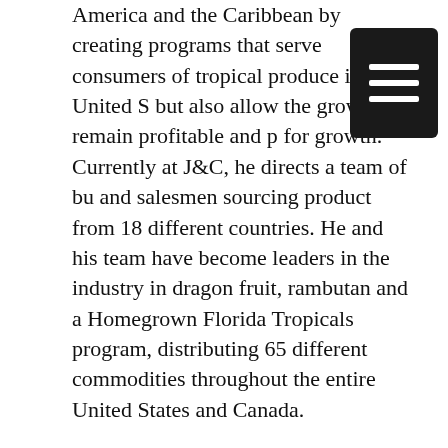America and the Caribbean by creating programs that serve consumers of tropical produce in the United States but also allow the growers to remain profitable and plan for growth. Currently at J&C, he directs a team of buyers and salesmen sourcing product from 18 different countries. He and his team have become leaders in the industry in dragon fruit, rambutan and a Homegrown Florida Tropicals program, distributing 65 different commodities throughout the entire United States and Canada.
Q:  How did you begin working in the produce industry?
I got into the industry by chance and opportunity. I fell in love with it almost immediately and will now be in produce for life.
Q: What aspect of the business challenged you the most early on?
Earning the growers' trust was the most challenging.